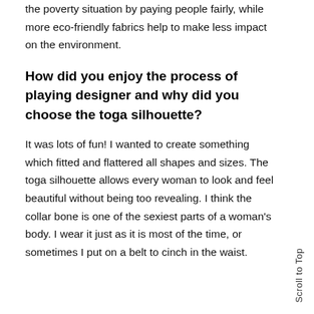the poverty situation by paying people fairly, while more eco-friendly fabrics help to make less impact on the environment.
How did you enjoy the process of playing designer and why did you choose the toga silhouette?
It was lots of fun! I wanted to create something which fitted and flattered all shapes and sizes. The toga silhouette allows every woman to look and feel beautiful without being too revealing. I think the collar bone is one of the sexiest parts of a woman's body. I wear it just as it is most of the time, or sometimes I put on a belt to cinch in the waist.
Scroll to Top